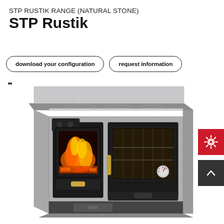STP RUSTIK RANGE (NATURAL STONE)
STP Rustik
download your configuration
request information
[Figure (photo): Wood-fired kitchen range stove with natural stone cladding, glass-front firebox showing flames, adjacent oven compartment with glass door and thermometer, dark metal construction with silver cooktop and backsplash]
[Figure (other): Red square button with gear/settings icon]
[Figure (other): Dark grey square button with upward chevron arrow icon]